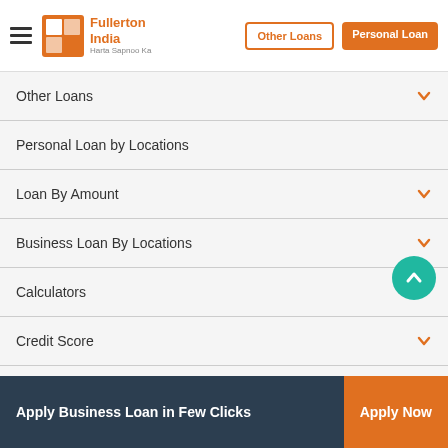Fullerton India — Harta Sapnoo Ka
Other Loans
Personal Loan by Locations
Loan By Amount
Business Loan By Locations
Calculators
Credit Score
Quick Links
About Us
Contact Us
Apply Business Loan in Few Clicks  Apply Now